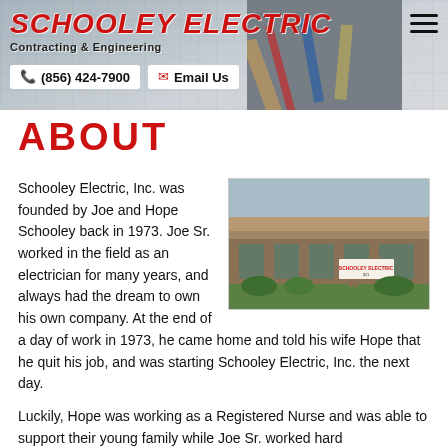SCHOOLEY ELECTRIC Contracting & Engineering | (856) 424-7900 | Email Us
ABOUT
Schooley Electric, Inc. was founded by Joe and Hope Schooley back in 1973. Joe Sr. worked in the field as an electrician for many years, and always had the dream to own his own company. At the end of a day of work in 1973, he came home and told his wife Hope that he quit his job, and was starting Schooley Electric, Inc. the next day.
[Figure (photo): Exterior photo of Schooley Electric building, a low brown brick commercial building with a sign in front.]
Luckily, Hope was working as a Registered Nurse and was able to support their young family while Joe Sr. worked hard